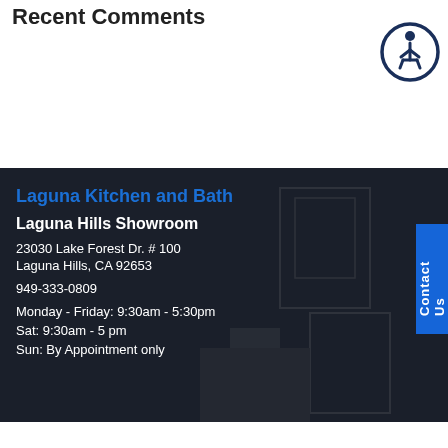Recent Comments
[Figure (illustration): Circular accessibility icon with person/wheelchair symbol, dark blue border on white background]
Laguna Kitchen and Bath
Laguna Hills Showroom
23030 Lake Forest Dr. # 100
Laguna Hills, CA 92653
949-333-0809
Monday - Friday: 9:30am - 5:30pm
Sat: 9:30am - 5 pm
Sun: By Appointment only